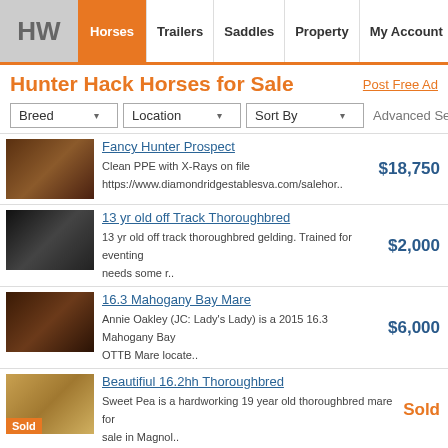HW | Horses | Trailers | Saddles | Property | My Account
Hunter Hack Horses for Sale
Post Free Ad
Breed  Location  Sort By  Advanced Search
Fancy Hunter Prospect — Clean PPE with X-Rays on file https://www.diamondridgestablesva.com/salehor.. — $18,750
13 yr old off Track Thoroughbred — 13 yr old off track thoroughbred gelding. Trained for eventing needs some r.. — $2,000
16.3 Mahogany Bay Mare — Annie Oakley (JC: Lady's Lady) is a 2015 16.3 Mahogany Bay OTTB Mare locate.. — $6,000
Beautifiul 16.2hh Thoroughbred — Sweet Pea is a hardworking 19 year old thoroughbred mare for sale in Magnol.. — Sold
American Paint Horse — Smartie is a nine year old Registered American Paint Horse, He is a amazing.. — $18,000
Welsh Mountain Pony — Crat leads ties lunges he has been ground driven washed . Loads ,good barn .. — $3,500
Grey Hunter — Beautiful 3yo gelding very big body, your next top hunter flat Knee w/t/c g.. — $10,000